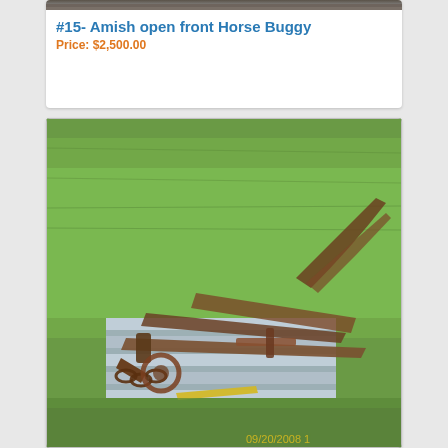[Figure (photo): Top portion of a horse buggy photo, cropped at top of card]
#15- Amish open front Horse Buggy
Price: $2,500.00
[Figure (photo): Photograph of rusty old farm/buggy metal hardware parts laid out on a wooden pallet on green grass. Date stamp reads 09/20/2008.]